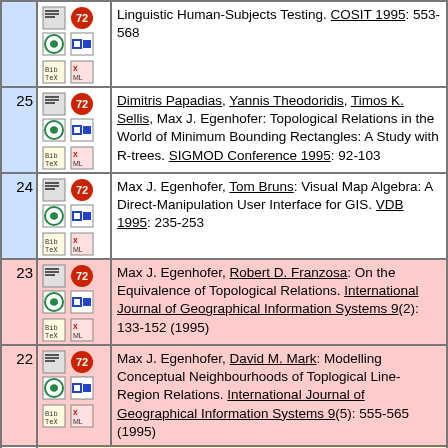Linguistic Human-Subjects Testing. COSIT 1995: 553-568
25 Dimitris Papadias, Yannis Theodoridis, Timos K. Sellis, Max J. Egenhofer: Topological Relations in the World of Minimum Bounding Rectangles: A Study with R-trees. SIGMOD Conference 1995: 92-103
24 Max J. Egenhofer, Tom Bruns: Visual Map Algebra: A Direct-Manipulation User Interface for GIS. VDB 1995: 235-253
23 Max J. Egenhofer, Robert D. Franzosa: On the Equivalence of Topological Relations. International Journal of Geographical Information Systems 9(2): 133-152 (1995)
22 Max J. Egenhofer, David M. Mark: Modelling Conceptual Neighbourhoods of Toplogical Line-Region Relations. International Journal of Geographical Information Systems 9(5): 555-565 (1995)
1994
21 Eliseo Clementini, Jayant Sharma, Max J. Egenhofer: Modelling topological spatial relations: Strategies for query processing. Computers &